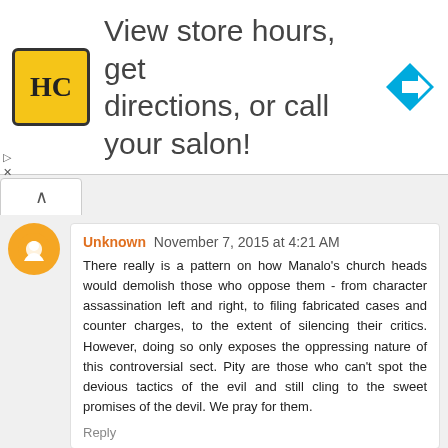[Figure (screenshot): Advertisement banner for HC salon with logo, text 'View store hours, get directions, or call your salon!' and a navigation arrow icon]
Unknown November 7, 2015 at 4:21 AM
There really is a pattern on how Manalo’s church heads would demolish those who oppose them - from character assassination left and right, to filing fabricated cases and counter charges, to the extent of silencing their critics. However, doing so only exposes the oppressing nature of this controversial sect. Pity are those who can’t spot the devious tactics of the evil and still cling to the sweet promises of the devil. We pray for them.
Reply
Niko Velas November 7, 2015 at 4:36 AM